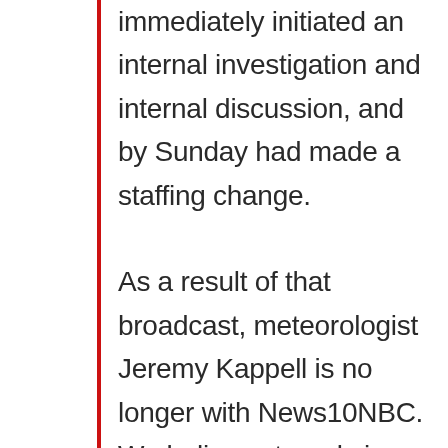immediately initiated an internal investigation and internal discussion, and by Sunday had made a staffing change. As a result of that broadcast, meteorologist Jeremy Kappell is no longer with News10NBC. We believe strongly in holding our reporters and anchors to the highest standard. We are proud of our dedicated newsroom professionals, and expect and require that each respects and understands that their behavior reflects directly on the station for which they work and...